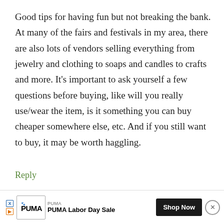Good tips for having fun but not breaking the bank. At many of the fairs and festivals in my area, there are also lots of vendors selling everything from jewelry and clothing to soaps and candles to crafts and more. It's important to ask yourself a few questions before buying, like will you really use/wear the item, is it something you can buy cheaper somewhere else, etc. And if you still want to buy, it may be worth haggling.
Reply
David @ MoneyNing.com says:
August 3, 2014 at 6:08 pm
[Figure (other): PUMA Labor Day Sale advertisement banner with PUMA logo, Shop Now button, and close button]